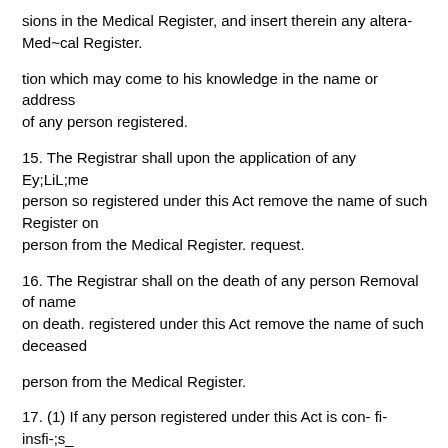sions in the Medical Register, and insert therein any altera- Med~cal Register.
tion which may come to his knowledge in the name or address of any person registered.
15. The Registrar shall upon the application of any Ey;LiL;me person so registered under this Act remove the name of such Register on person from the Medical Register. request.
16. The Registrar shall on the death of any person Removal of name on death. registered under this Act remove the name of such deceased
person from the Medical Register.
17. (1) If any person registered under this Act is con- fi- insfi-;s_ victed of felony or misdemeanour before the High Court, or, after due inquiry is adjudged by the Medical Board to ;;zyO;d of